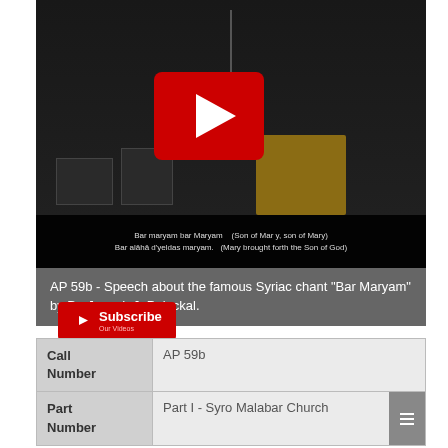[Figure (screenshot): Video thumbnail of a man speaking at a podium with a red YouTube play button overlay. Subtitle bar reads: 'Bar maryam bar Maryam (Son of Mary, son of Mary) / Bar alaha d'yeldas maryam. (Mary brought forth the Son of God)']
AP 59b - Speech about the famous Syriac chant "Bar Maryam" by Dr. Joseph J. Palackal.
[Figure (logo): Red YouTube subscribe button with play icon and text 'Subscribe Our Videos']
| Call Number | AP 59b |
| Part Number | Part I - Syro Malabar Church |